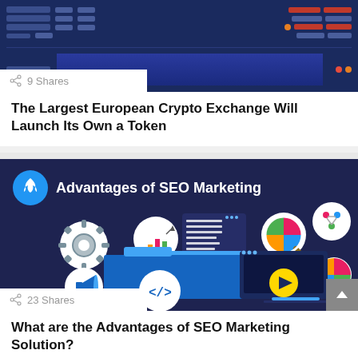[Figure (screenshot): Crypto exchange data table with dark blue background showing rows of financial data]
9 Shares
The Largest European Crypto Exchange Will Launch Its Own a Token
[Figure (illustration): Advantages of SEO Marketing graphic with dark navy background, icons for settings gear, bar chart, document, magnifying glass with pie chart, share icon, megaphone, code tags, and video play button]
23 Shares
What are the Advantages of SEO Marketing Solution?